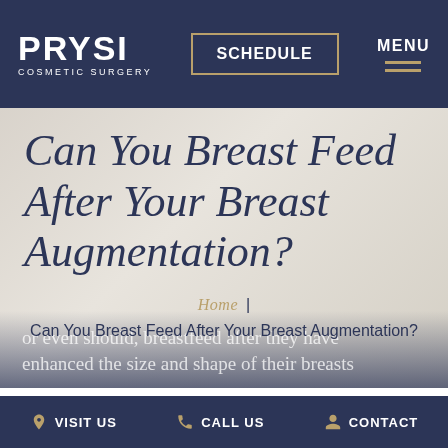PRYSI COSMETIC SURGERY | SCHEDULE | MENU
Can You Breast Feed After Your Breast Augmentation?
Home | Can You Breast Feed After Your Breast Augmentation?
Most women are not sure whether they can, or even should, breastfeed after they have enhanced the size and shape of their breasts
VISIT US | CALL US | CONTACT